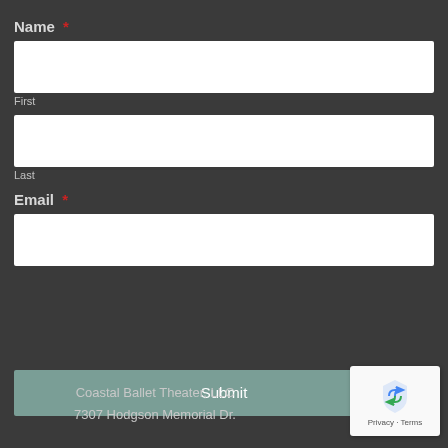Name *
First
Last
Email *
Submit
Coastal Ballet Theater, LLC
7307 Hodgson Memorial Dr.